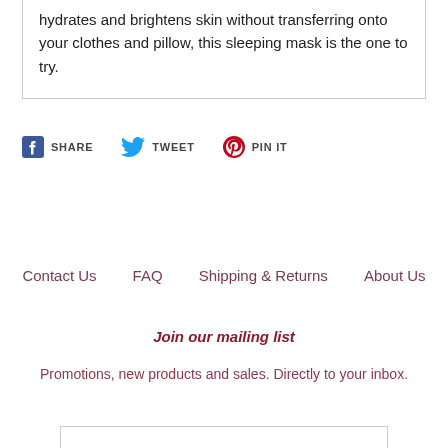hydrates and brightens skin without transferring onto your clothes and pillow, this sleeping mask is the one to try.
SHARE   TWEET   PIN IT
Contact Us   FAQ   Shipping & Returns   About Us
Join our mailing list
Promotions, new products and sales. Directly to your inbox.